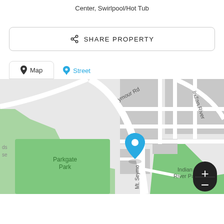Center, Swirlpool/Hot Tub
[Figure (other): Share Property button with share icon]
[Figure (map): Map view showing Parkgate Park, Seymour Rd, Indian River area with a blue location pin and zoom controls. Tabs: Map (selected), Street.]